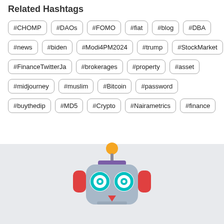Related Hashtags
#CHOMP
#DAOs
#FOMO
#fiat
#blog
#DBA
#news
#biden
#Modi4PM2024
#trump
#StockMarket
#FinanceTwitterJa
#brokerages
#property
#asset
#midjourney
#muslim
#Bitcoin
#password
#buythedip
#MD5
#Crypto
#Nairametrics
#finance
[Figure (illustration): Robot emoji illustration shown in the bottom gray section of the page]